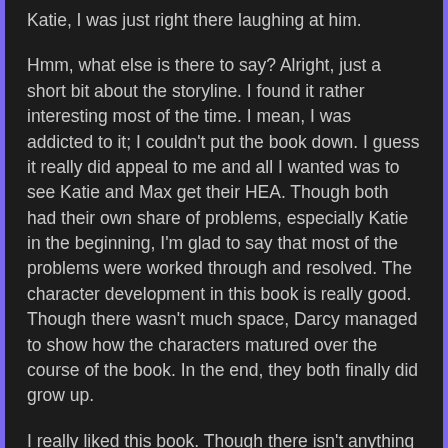Katie, I was just right there laughing at him.
Hmm, what else is there to say? Alright, just a short bit about the storyline. I found it rather interesting most of the time. I mean, I was addicted to it; I couldn't put the book down. I guess it really did appeal to me and all I wanted was to see Katie and Max get their HEA. Though both had their own share of problems, especially Katie in the beginning, I'm glad to say that most of the problems were worked through and resolved. The character development in this book is really good. Though there wasn't much space, Darcy managed to show how the characters matured over the course of the book. In the end, they both finally did grow up.
I really liked this book. Though there isn't anything really special about it, I guess its unique in the sense that it's a sweet, clean romance. I don't read many of these type of genre and I must say, I'm glad that I read this book. Not because I have to read it for the blog tour, but because I really enjoyed it. Definitely a recommended read.